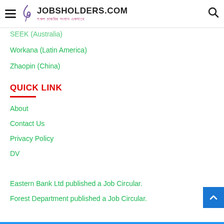JOBSHOLDERS.COM — সকল চাকরির সংবাদ একসাথে
SEEK (Australia)
Workana (Latin America)
Zhaopin (China)
QUICK LINK
About
Contact Us
Privacy Policy
DV
Eastern Bank Ltd published a Job Circular.
Forest Department published a Job Circular.